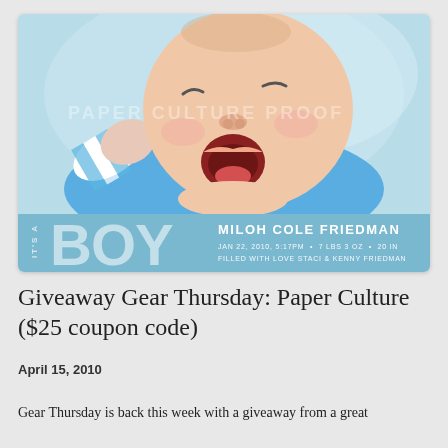[Figure (photo): Birth announcement card showing a newborn baby yawning, wearing blue and white striped clothing, lying on a blue background. The card has a blue banner at the bottom with 'IT'S A BOY' on the left and 'MILOH COLE FRIEDMAN' with birth details on the right. A watermark reading 'PAPER CULTURE PROOF' is overlaid on the image.]
Giveaway Gear Thursday: Paper Culture ($25 coupon code)
April 15, 2010
Gear Thursday is back this week with a giveaway from a great